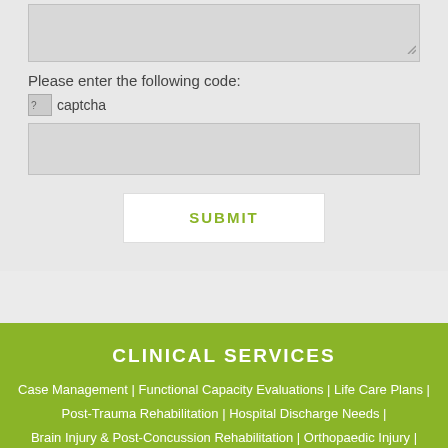Please enter the following code:
[Figure (other): CAPTCHA image placeholder with broken image icon and text 'captcha']
SUBMIT
CLINICAL SERVICES
Case Management | Functional Capacity Evaluations | Life Care Plans | Post-Trauma Rehabilitation | Hospital Discharge Needs | Brain Injury & Post-Concussion Rehabilitation | Orthopaedic Injury | Spinal Cord Injury | Chronic Pain & Chronic Fatigue Management |